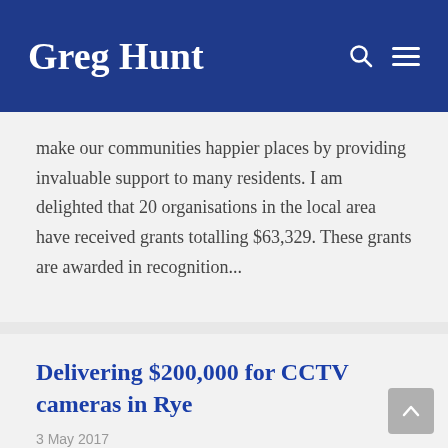Greg Hunt
make our communities happier places by providing invaluable support to many residents. I am delighted that 20 organisations in the local area have received grants totalling $63,329. These grants are awarded in recognition...
Delivering $200,000 for CCTV cameras in Rye
3 May 2017
Federal Member for Flinders Greg Hunt MP visited Rye on Friday to meet with community members to